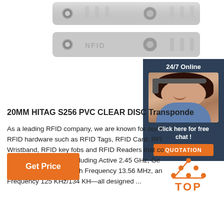[Figure (photo): Two white/grey PVC RFID tag strips with metal eyelets and circular disc transponders, shown stacked]
[Figure (infographic): 24/7 Online chat widget with customer service agent photo, 'Click here for free chat!' text and orange QUOTATION button on dark blue background]
20MM HITAG S256 PVC CLEAR DISC Transponde
As a leading RFID company, we are known for our high quality RFID hardware such as RFID Tags, RFID Card, RFID Wristband, RFID key fobs and RFID Readers that cover a wide range of frequencies including Active 2.45 GHz, Gen 2 UHF 860-960 MHz, 902-928 MHz, High Frequency 13.56 MHz, and Low Frequency 125 KHz/134 KH—all designed ...
[Figure (illustration): Orange 'Get Price' button]
[Figure (logo): Orange TOP icon with dots arranged in triangle above the word TOP]